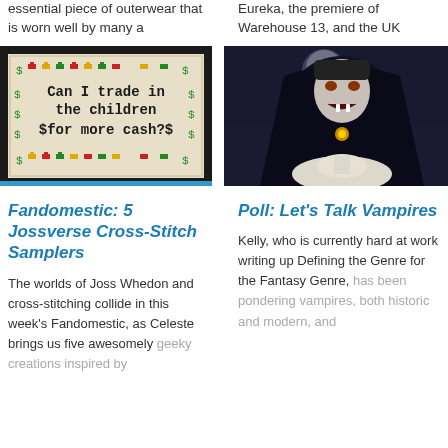essential piece of outerwear that is worn well by many a
Eureka, the premiere of Warehouse 13, and the UK
[Figure (photo): Cross-stitch sampler in a black frame reading 'Can I trade in the children $for more cash?' with decorative dollar signs and pixel art icons]
[Figure (photo): Dramatic painting of a vampire with fangs biting a woman's neck, dark gothic background with moon and bats]
Fandomestic: 5 Jossverse Cross-Stitch Samplers
Poll: Let's Talk Vampires
The worlds of Joss Whedon and cross-stitching collide in this week's Fandomestic, as Celeste brings us five awesomely geeky creations inspired by
Kelly, who is currently hard at work writing up Defining the Genre for the Fantasy Genre, has been pondering vampires, both historic and modern, and